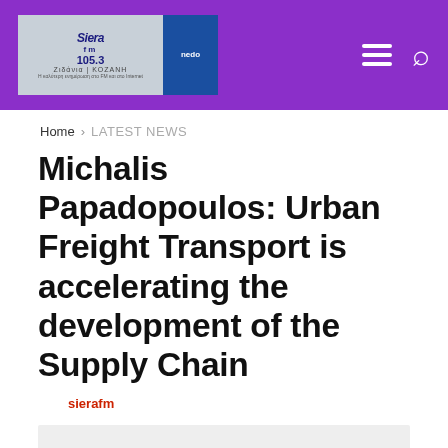Siera fm 105.3 | Ζιδάνια | KOZANI [logo and navigation]
Home › LATEST NEWS
Michalis Papadopoulos: Urban Freight Transport is accelerating the development of the Supply Chain
sierafm
[Figure (photo): Light grey image placeholder area below the author byline]